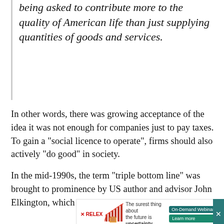being asked to contribute more to the quality of American life than just supplying quantities of goods and services.
In other words, there was growing acceptance of the idea it was not enough for companies just to pay taxes. To gain a “social licence to operate”, firms should also actively “do good” in society.
In the mid-1990s, the term “triple bottom line” was brought to prominence by US author and advisor John Elkington, which he describes as
[Figure (other): RELEX advertisement banner with bar chart graphic and text: The surest thing about the future is uncertainty. On-Demand Webinar. Learn more button.]